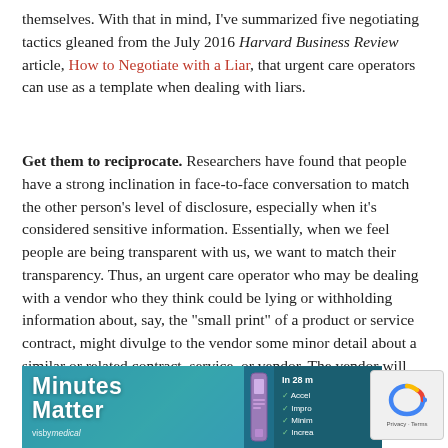themselves. With that in mind, I've summarized five negotiating tactics gleaned from the July 2016 Harvard Business Review article, How to Negotiate with a Liar, that urgent care operators can use as a template when dealing with liars.
Get them to reciprocate. Researchers have found that people have a strong inclination in face-to-face conversation to match the other person's level of disclosure, especially when it's considered sensitive information. Essentially, when we feel people are being transparent with us, we want to match their transparency. Thus, an urgent care operator who may be dealing with a vendor who they think could be lying or withholding information about, say, the "small print" of a product or service contract, might divulge to the vendor some minor detail about a similar or related contract, service, or vendor. The vendor will then be likely to reciprocate with information about his product or service.
[Figure (photo): Advertisement for Visby Medical showing 'Minutes Matter' with device image and checklist items: Accelerate, Improve, Minimize, Increase, in 28 min timeframe.]